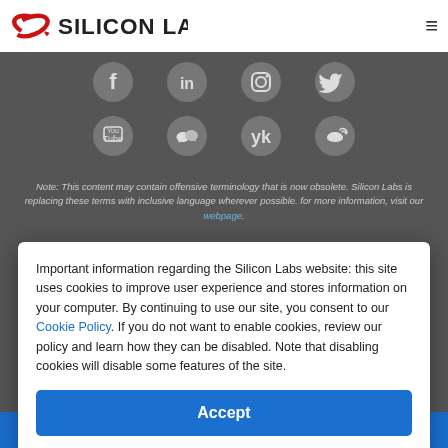Silicon Labs
[Figure (illustration): Eight social media icons in two rows on dark grey background: Facebook, LinkedIn, Instagram, Twitter (top row); YouTube, WeChat, Yandex, Weibo (bottom row)]
Note: This content may contain offensive terminology that is now obsolete. Silicon Labs is replacing these terms with inclusive language wherever possible. for more information, visit our webpage.
Important information regarding the Silicon Labs website: this site uses cookies to improve user experience and stores information on your computer. By continuing to use our site, you consent to our Cookie Policy. If you do not want to enable cookies, review our policy and learn how they can be disabled. Note that disabling cookies will disable some features of the site.
Accept
Feedback